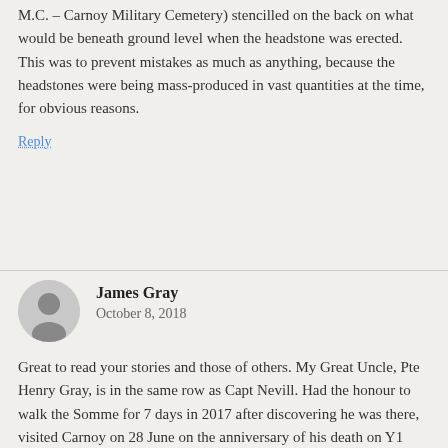M.C. – Carnoy Military Cemetery) stencilled on the back on what would be beneath ground level when the headstone was erected. This was to prevent mistakes as much as anything, because the headstones were being mass-produced in vast quantities at the time, for obvious reasons.
Reply
James Gray
October 8, 2018
Great to read your stories and those of others. My Great Uncle, Pte Henry Gray, is in the same row as Capt Nevill. Had the honour to walk the Somme for 7 days in 2017 after discovering he was there, visited Carnoy on 28 June on the anniversary of his death on Y1 day. Frustratingly no war diary entries on that day (or for the next few days – I'm guessing they were far too busy moving up to the start lines for the first day) for the 8th, but the flanking units record shelling in the area of Carnoy and trench raids by the 8th in the preceding days before the battle (if memory serves) so I'm assuming he was either victim of